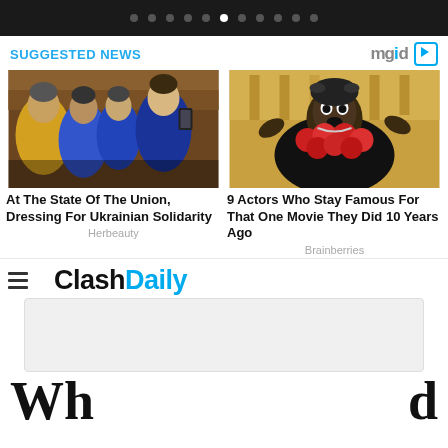Navigation dots / carousel indicator bar
SUGGESTED NEWS
[Figure (photo): Group selfie photo at State of the Union, people in blue and yellow Ukrainian solidarity colors]
At The State Of The Union, Dressing For Ukrainian Solidarity
Herbeauty
[Figure (photo): Actor in elaborate red flower costume with surprised expression]
9 Actors Who Stay Famous For That One Movie They Did 10 Years Ago
Brainberries
[Figure (screenshot): ClashDaily website logo with hamburger menu and partial article text starting with 'Wh...' and '...d']